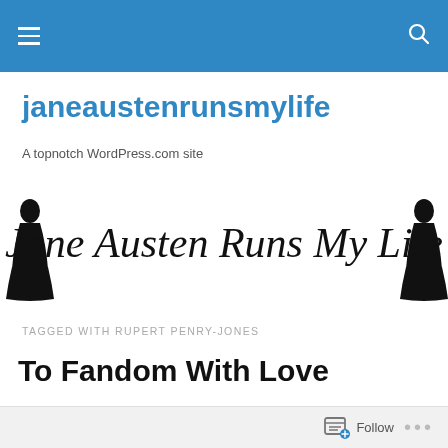janeaustenrunsmylife — navigation header bar
janeaustenrunsmylife
A topnotch WordPress.com site
[Figure (illustration): Decorative cursive text banner reading 'Jane Austen Runs My Life' with silhouettes of a woman in Regency dress on each side]
TAGGED WITH RUPERT PENRY-JONES
To Fandom With Love
Follow ...